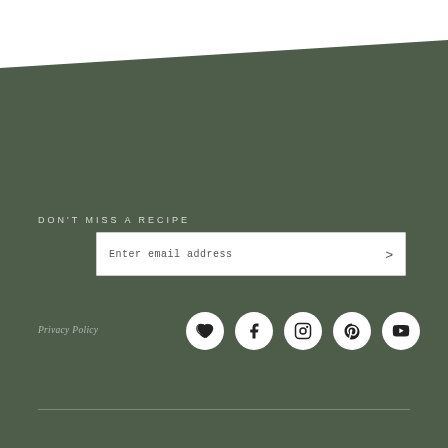DON'T MISS A RECIPE
Enter email address >
Privacy Policy
[Figure (illustration): Social media icons row: heart/Bloglovin, Facebook, Instagram, Pinterest, YouTube — each in a white circle on dark green background]